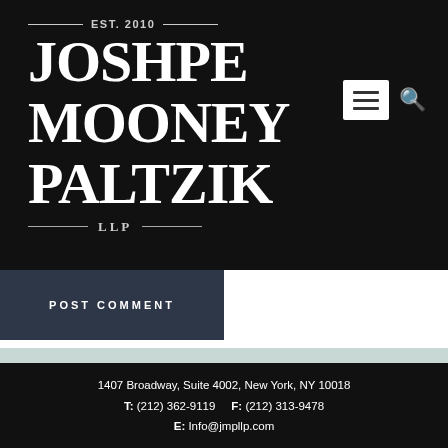EST. 2010 JOSHPE MOONEY PALTZIK LLP
[Figure (logo): Joshpe Mooney Paltzik LLP law firm logo with EST. 2010, firm name in large serif type, LLP subtitle with decorative rules, on dark background with hamburger menu and search icon]
POST COMMENT
1407 Broadway, Suite 4002, New York, NY 10018  T: (212) 362-9119  F: (212) 313-9478  E: Info@jmpllp.com